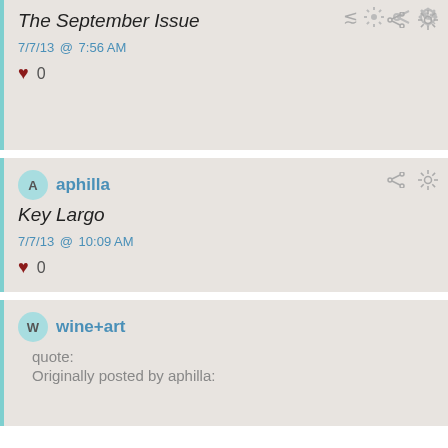The September Issue
7/7/13 @ 7:56 AM
0
aphilla
Key Largo
7/7/13 @ 10:09 AM
0
wine+art
quote:
Originally posted by aphilla: